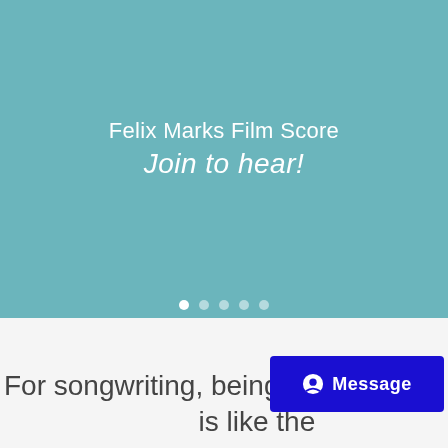[Figure (other): Teal/blue-green hero banner with centered text overlay showing 'Felix Marks Film Score' and italic 'Join to hear!' with slider dots at the bottom]
Felix Marks Film Score
Join to hear!
For songwriting, being able is like the difference between driving a Ferarri